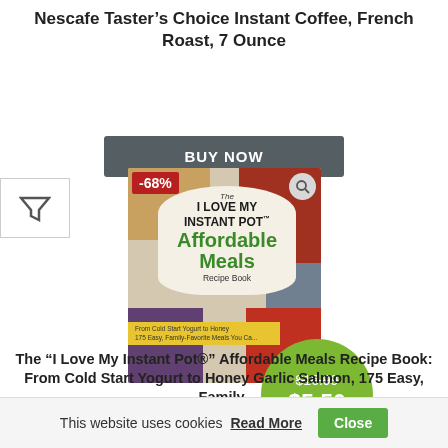Nescafe Taster’s Choice Instant Coffee, French Roast, 7 Ounce
BUY NOW
[Figure (illustration): Book cover: The I Love My Instant Pot Affordable Meals Recipe Book with food photos, -68% badge, and $5.50 price circle (original $16.99)]
The “I Love My Instant Pot®” Affordable Meals Recipe Book: From Cold Start Yogurt to Honey Garlic Salmon, 175 Easy, Family-Favorite Meals You Can Make for under $10 (“I Love My” Series)
This website uses cookies Read More Close